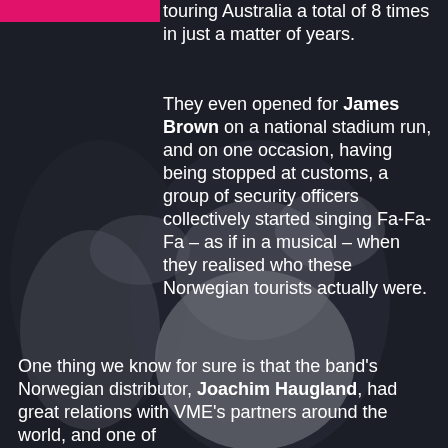[Figure (photo): Two men photographed against a dark background, one in white t-shirt in foreground with hands raised, another behind him with mouth open.]
touring Australia a total of 8 times in just a matter of years.
They even opened for James Brown on a national stadium run, and on one occasion, having being stopped at customs, a group of security officers collectively started singing Fa-Fa-Fa – as if in a musical – when they realised who these Norwegian tourists actually were.
One thing we know for sure is that the band's Norwegian distributor, Joachim Haugland, had great relations with VME's partners around the world, and one of